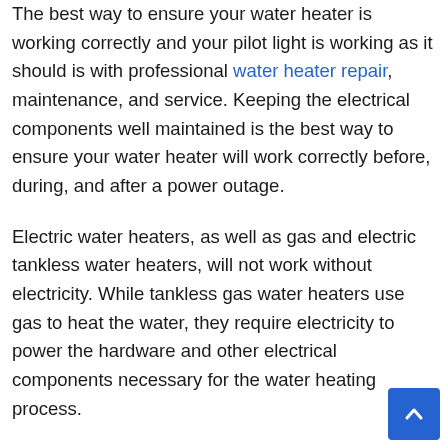The best way to ensure your water heater is working correctly and your pilot light is working as it should is with professional water heater repair, maintenance, and service. Keeping the electrical components well maintained is the best way to ensure your water heater will work correctly before, during, and after a power outage.
Electric water heaters, as well as gas and electric tankless water heaters, will not work without electricity. While tankless gas water heaters use gas to heat the water, they require electricity to power the hardware and other electrical components necessary for the water heating process.
If you live in an area that suffers from frequent